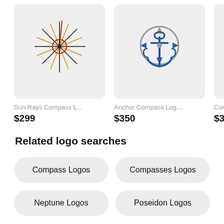[Figure (logo): Sun Rays Compass Logo — circular sun with radiating black and orange/gold rays and a red accent, centered on white/light background]
Sun Rays Compass L...
$299
[Figure (logo): Anchor Compass Logo — a nautical anchor combined with compass arrows in blue and grey tones]
Anchor Compass Log...
$350
[Figure (logo): Partially visible third logo card — cropped at right edge]
Com
$350
Related logo searches
Compass Logos
Compasses Logos
Neptune Logos
Poseidon Logos